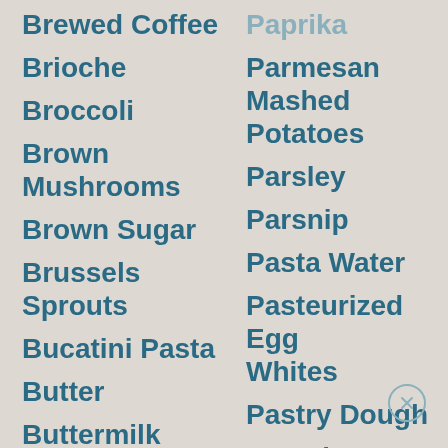Brewed Coffee
Brioche
Broccoli
Brown Mushrooms
Brown Sugar
Brussels Sprouts
Bucatini Pasta
Butter
Buttermilk
Butternut Squash
Button
Paprika
Parmesan Mashed Potatoes
Parsley
Parsnip
Pasta Water
Pasteurized Egg Whites
Pastry Dough
Pea Shoot Greens
Pea Shoots